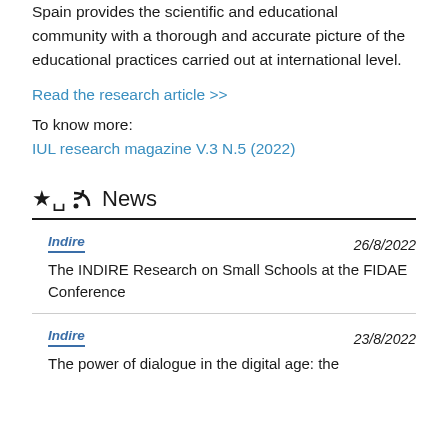Spain provides the scientific and educational community with a thorough and accurate picture of the educational practices carried out at international level.
Read the research article >>
To know more:
IUL research magazine V.3 N.5 (2022)
News
Indire   26/8/2022
The INDIRE Research on Small Schools at the FIDAE Conference
Indire   23/8/2022
The power of dialogue in the digital age: the